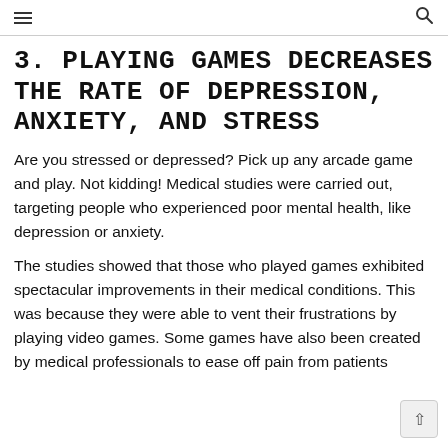☰  🔍
3. Playing Games Decreases the rate of Depression, Anxiety, and Stress
Are you stressed or depressed? Pick up any arcade game and play. Not kidding! Medical studies were carried out, targeting people who experienced poor mental health, like depression or anxiety.
The studies showed that those who played games exhibited spectacular improvements in their medical conditions. This was because they were able to vent their frustrations by playing video games. Some games have also been created by medical professionals to ease off pain from patients suffering from some medical conditions.